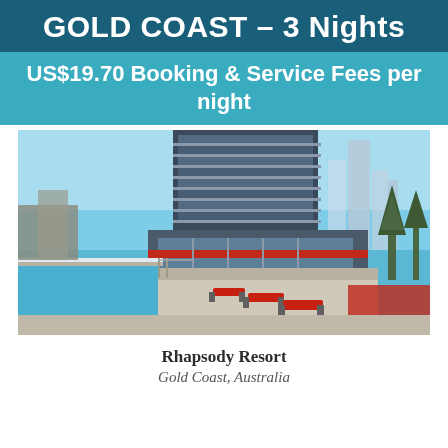GOLD COAST – 3 Nights
US$19.70 Booking & Service Fees per night
[Figure (photo): Exterior photo of Rhapsody Resort Gold Coast showing a tall modern apartment tower with balconies, a rooftop pool area with red sun loungers, blue sky background, and city skyline in distance]
Rhapsody Resort
Gold Coast, Australia